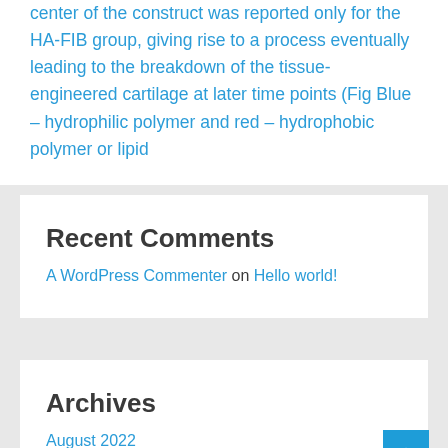center of the construct was reported only for the HA-FIB group, giving rise to a process eventually leading to the breakdown of the tissue-engineered cartilage at later time points (Fig Blue – hydrophilic polymer and red – hydrophobic polymer or lipid
Recent Comments
A WordPress Commenter on Hello world!
Archives
August 2022